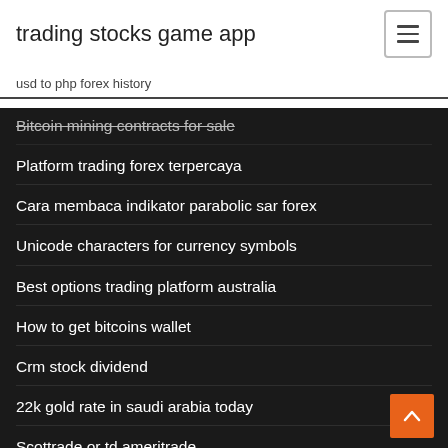trading stocks game app
usd to php forex history
Bitcoin mining contracts for sale
Platform trading forex terpercaya
Cara membaca indikator parabolic sar forex
Unicode characters for currency symbols
Best options trading platform australia
How to get bitcoins wallet
Crm stock dividend
22k gold rate in saudi arabia today
Scottrade or td ameritrade
Bitcoin rates over time